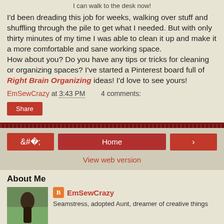I can walk to the desk now!
I'd been dreading this job for weeks, walking over stuff and shuffling through the pile to get what I needed. But with only thirty minutes of my time I was able to clean it up and make it a more comfortable and sane working space.
How about you? Do you have any tips or tricks for cleaning or organizing spaces? I've started a Pinterest board full of Right Brain Organizing ideas! I'd love to see yours!
EmSewCrazy at 3:43 PM   4 comments:
Share
Home
View web version
About Me
EmSewCrazy
Seamstress, adopted Aunt, dreamer of creative things